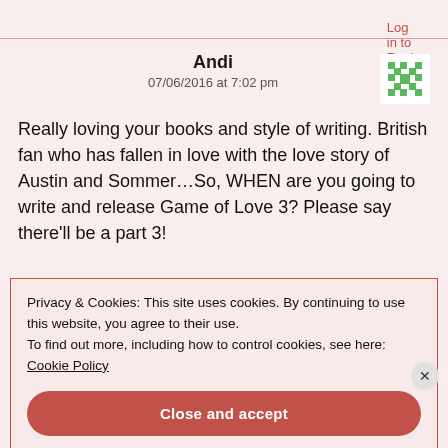Log in to Reply
Andi
07/06/2016 at 7:02 pm
Really loving your books and style of writing. British fan who has fallen in love with the love story of Austin and Sommer…So, WHEN are you going to write and release Game of Love 3? Please say there'll be a part 3!
Privacy & Cookies: This site uses cookies. By continuing to use this website, you agree to their use.
To find out more, including how to control cookies, see here:
Cookie Policy
Close and accept